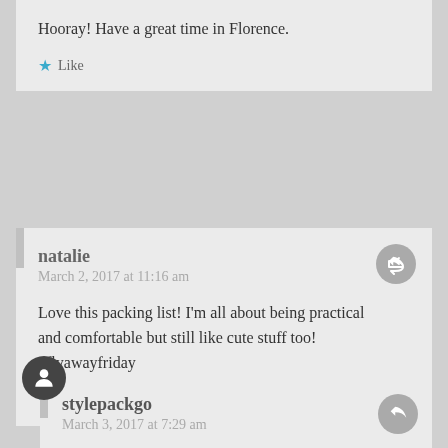Hooray! Have a great time in Florence.
Like
natalie
March 2, 2017 at 11:16 am
Love this packing list! I'm all about being practical and comfortable but still like cute stuff too!
#flyawayfriday
Like
stylepackgo
March 3, 2017 at 7:29 am
Oh my gosh – me too!